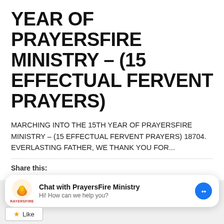YEAR OF PRAYERSFIRE MINISTRY – (15 EFFECTUAL FERVENT PRAYERS)
MARCHING INTO THE 15TH YEAR OF PRAYERSFIRE MINISTRY – (15 EFFECTUAL FERVENT PRAYERS) 18704. EVERLASTING FATHER, WE THANK YOU FOR...
Share this:
[Figure (screenshot): Social sharing buttons: WhatsApp, Share (LinkedIn), Print, Tweet, Telegram]
[Figure (infographic): Chat with PrayersFire Ministry widget with logo and Messenger icon. Text: Hi! How can we help you?]
[Figure (other): Like button at the bottom]